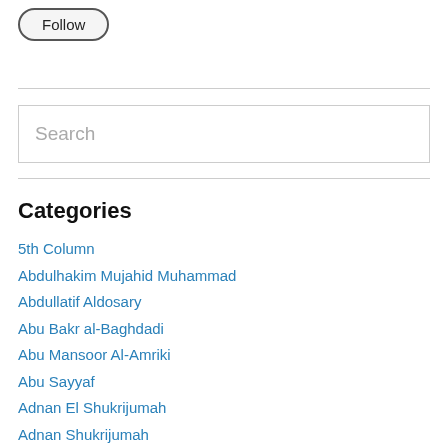[Figure (other): Follow button with rounded rectangle border]
Search
Categories
5th Column
Abdulhakim Mujahid Muhammad
Abdullatif Aldosary
Abu Bakr al-Baghdadi
Abu Mansoor Al-Amriki
Abu Sayyaf
Adnan El Shukrijumah
Adnan Shukrijumah
Afghanistan
Africa